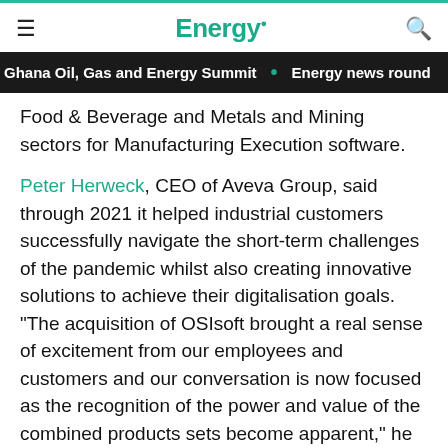Energy.
Ghana Oil, Gas and Energy Summit • Energy news round
Food & Beverage and Metals and Mining sectors for Manufacturing Execution software.
Peter Herweck, CEO of Aveva Group, said through 2021 it helped industrial customers successfully navigate the short-term challenges of the pandemic whilst also creating innovative solutions to achieve their digitalisation goals. "The acquisition of OSIsoft brought a real sense of excitement from our employees and customers and our conversation is now focused as the recognition of the power and value of the combined products sets become apparent," he said.
“It’s clear that moving forward, Aveva has a strong springboard for the future long-term growth of the